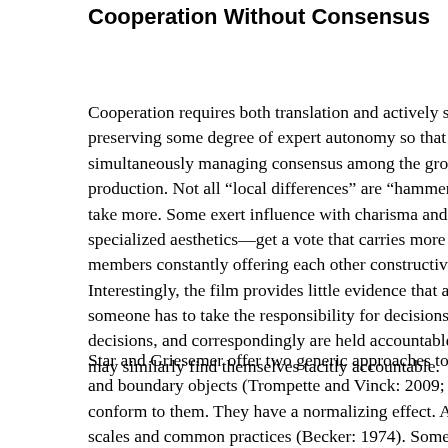Cooperation Without Consensus
Cooperation requires both translation and actively sustaining preserving some degree of expert autonomy so that expe simultaneously managing consensus among the group. T production. Not all “local differences” are “hammered out” take more. Some exert influence with charisma and powe specialized aesthetics—get a vote that carries more weig members constantly offering each other constructive critic Interestingly, the film provides little evidence that all are e someone has to take the responsibility for decisions. Pro decisions, and correspondingly are held accountable for t may similarly find themselves tacitly accountable.
Star and Griesemer offer two generic approaches to solvi and boundary objects (Trompette and Vinck: 2009; Star a conform to them. They have a normalizing effect. Analogo scales and common practices (Becker: 1974). Some conv to produce art, and they limit technologies’ functionality (B